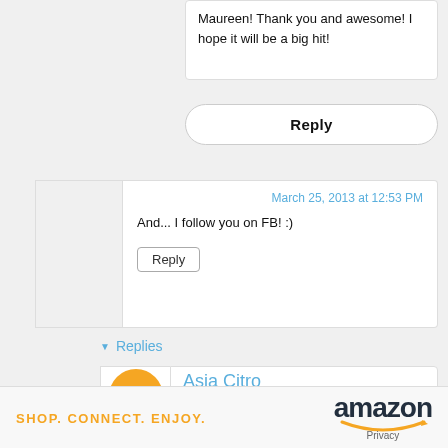Maureen! Thank you and awesome! I hope it will be a big hit!
Reply
March 25, 2013 at 12:53 PM
And... I follow you on FB! :)
Reply
Replies
Asia Citro
March 25, 2013 at 12:57 PM
Ey...
[Figure (logo): Amazon banner ad: SHOP. CONNECT. ENJOY. with Amazon logo and smile, Privacy text]
SHOP. CONNECT. ENJOY. amazon Privacy